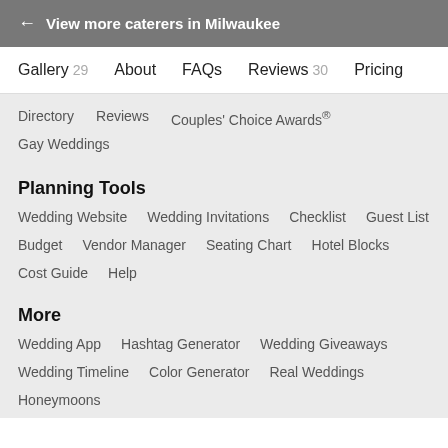← View more caterers in Milwaukee
Gallery 29   About   FAQs   Reviews 30   Pricing
Directory   Reviews   Couples' Choice Awards®   Gay Weddings
Planning Tools
Wedding Website   Wedding Invitations   Checklist   Guest List   Budget   Vendor Manager   Seating Chart   Hotel Blocks   Cost Guide   Help
More
Wedding App   Hashtag Generator   Wedding Giveaways   Wedding Timeline   Color Generator   Real Weddings   Honeymoons